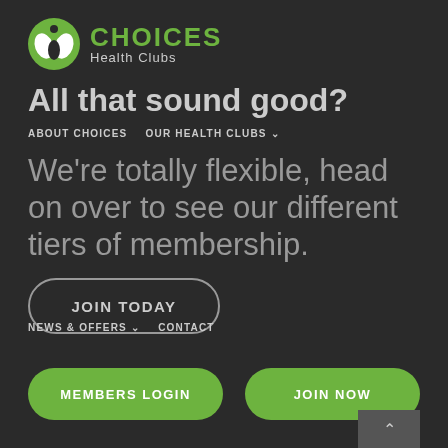[Figure (logo): Choices Health Clubs logo: green circular icon with white leaf/person shapes, green text CHOICES, grey text Health Clubs]
All that sound good?
ABOUT CHOICES   OUR HEALTH CLUBS ∨
We're totally flexible, head on over to see our different tiers of membership.
JOIN TODAY
NEWS & OFFERS ∨   CONTACT
MEMBERS LOGIN
JOIN NOW